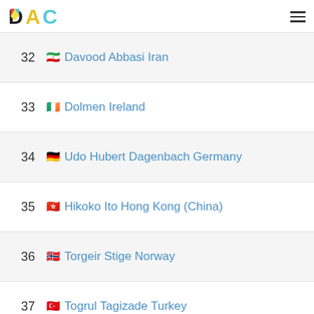DAC
32 Davood Abbasi Iran
33 Dolmen Ireland
34 Udo Hubert Dagenbach Germany
35 Hikoko Ito Hong Kong (China)
36 Torgeir Stige Norway
37 Togrul Tagizade Turkey
38 Mccacti Creative Consulting Co.,Ltd. Ch